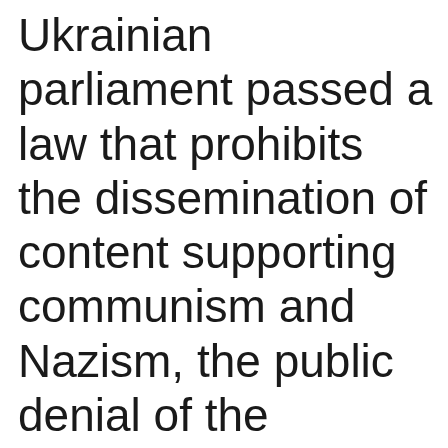Ukrainian parliament passed a law that prohibits the dissemination of content supporting communism and Nazism, the public denial of the criminal character of these regimes, and the use of its symbols, in